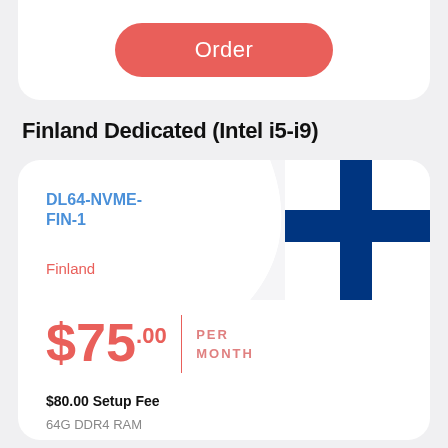Order
Finland Dedicated (Intel i5-i9)
DL64-NVME-FIN-1
Finland
$75.00 PER MONTH
$80.00 Setup Fee
64G DDR4 RAM